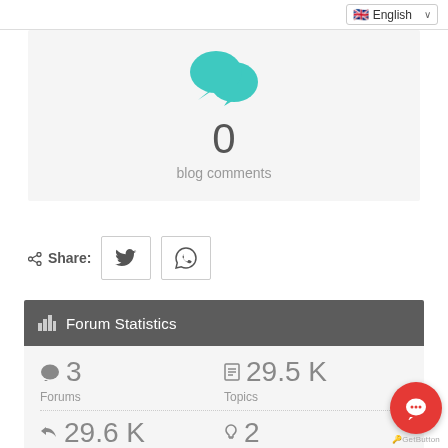[Figure (screenshot): Language selector dropdown showing UK flag and 'English' text with dropdown arrow]
[Figure (infographic): Teal speech bubble icon with count 0 and label 'blog comments']
0
blog comments
Share:
[Figure (infographic): Share buttons: Twitter bird icon and WhatsApp icon in square bordered buttons]
Forum Statistics
3
Forums
29.5 K
Topics
29.6 K
2